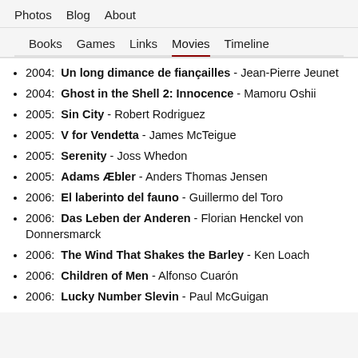Photos  Blog  About
Books  Games  Links  Movies  Timeline
2004: Un long dimance de fiançailles - Jean-Pierre Jeunet
2004: Ghost in the Shell 2: Innocence - Mamoru Oshii
2005: Sin City - Robert Rodriguez
2005: V for Vendetta - James McTeigue
2005: Serenity - Joss Whedon
2005: Adams Æbler - Anders Thomas Jensen
2006: El laberinto del fauno - Guillermo del Toro
2006: Das Leben der Anderen - Florian Henckel von Donnersmarck
2006: The Wind That Shakes the Barley - Ken Loach
2006: Children of Men - Alfonso Cuarón
2006: Lucky Number Slevin - Paul McGuigan